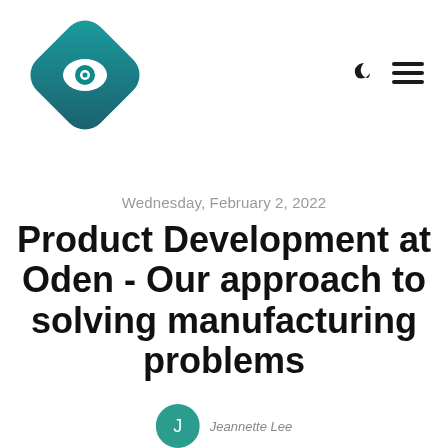[Figure (logo): Oden Technologies logo: teal/dark teal diamond shape with an eye icon (circle with dot) in the center]
[Figure (other): Navigation icons: moon/crescent icon for dark mode toggle and hamburger menu (three horizontal lines)]
Wednesday, February 2, 2022
Product Development at Oden - Our approach to solving manufacturing problems
[Figure (other): Partial author avatar - teal circular icon, partially cropped at bottom of page, with text 'Jeannette Lee' beginning to appear]